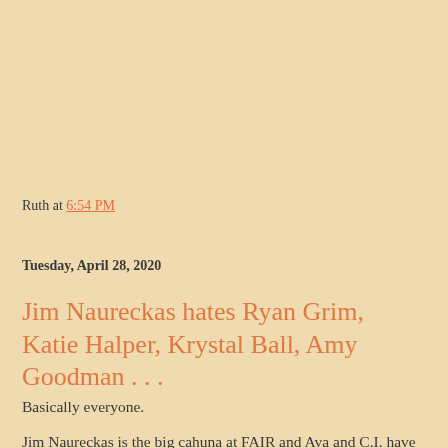Ruth at 6:54 PM
Tuesday, April 28, 2020
Jim Naureckas hates Ryan Grim, Katie Halper, Krystal Ball, Amy Goodman . . .
Basically everyone.
Jim Naureckas is the big cahuna at FAIR and Ava and C.I. have been calling out FAIR and its radio program COUNTERSPIN ("MEDIA: The blame pie has many slices -- does it have enough to go around?" and "TV: Journalism isn't supposed to be melodramatic or provoke belly laughs") for refusing to cover Tara Reade.  They will not mention her